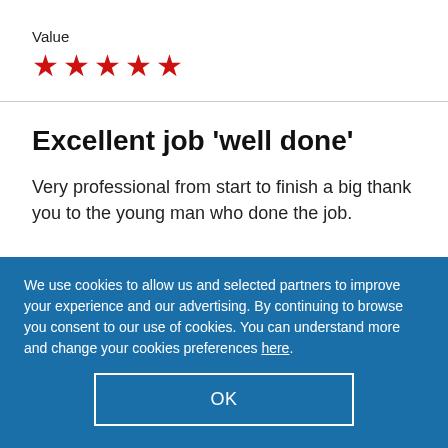Value
[Figure (other): Five red star rating icons]
Excellent job 'well done'
Very professional from start to finish a big thank you to the young man who done the job.
We use cookies to allow us and selected partners to improve your experience and our advertising. By continuing to browse you consent to our use of cookies. You can understand more and change your cookies preferences here.
OK